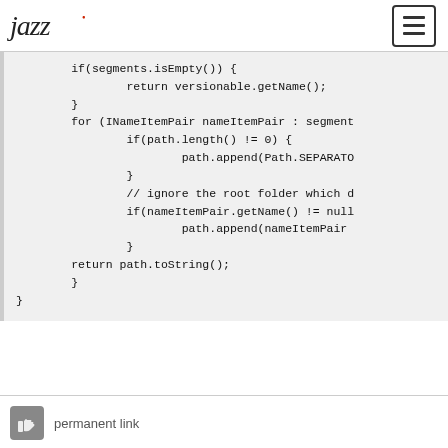jazz [logo] [hamburger menu button]
if(segments.isEmpty()) {
            return versionable.getName();
        }
        for (INameItemPair nameItemPair : segment
                if(path.length() != 0) {
                        path.append(Path.SEPARATO
                }
                // ignore the root folder which d
                if(nameItemPair.getName() != null
                        path.append(nameItemPair
                }
        return path.toString();
        }
}
permanent link